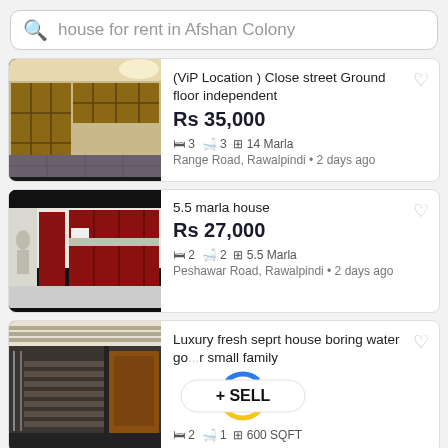house for rent in Afshan Colony
[Figure (photo): Interior photo of a room with wooden wall cabinets and tiled floor]
(ViP Location ) Close street Ground floor independent
Rs 35,000
3 beds  3 baths  14 Marla  Range Road, Rawalpindi · 2 days ago
[Figure (photo): Interior photo of a kitchen with red cabinets and white walls]
5.5 marla house
Rs 27,000
2 beds  2 baths  5.5 Marla  Peshawar Road, Rawalpindi · 2 days ago
[Figure (photo): Exterior photo showing stairs and entrance of a house]
Luxury fresh seprt house boring water go...r small family
+ SELL
2 beds  1 bath  600 SQFT